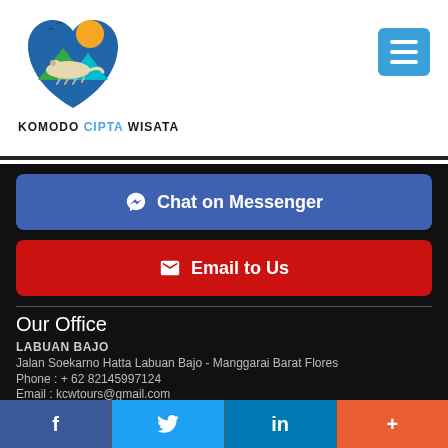[Figure (logo): Komodo Cipta Wisata logo with komodo dragon, mountains, sun and bird silhouettes in heart-shaped shield]
KOMODO CIPTA WISATA
Chat on Messenger
Email to Us
Our Office
LABUAN BAJO
Jalan Soekarno Hatta Labuan Bajo - Manggarai Barat Flores
Phone : + 62 82145997124
Email : kcwtours@gmail.com
f  Twitter  in  +